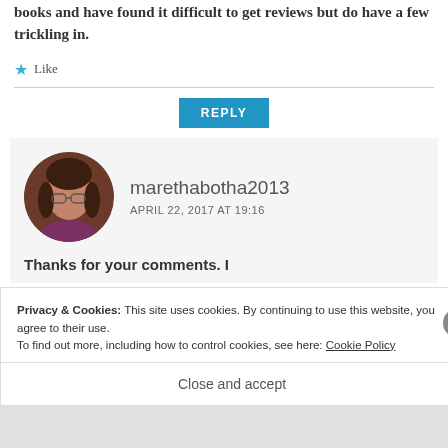books and have found it difficult to get reviews but do have a few trickling in.
Like
REPLY
[Figure (photo): Circular avatar photo of user marethabotha2013, a woman with glasses and dark hair]
marethabotha2013
APRIL 22, 2017 AT 19:16
Thanks for your comments. I
Privacy & Cookies: This site uses cookies. By continuing to use this website, you agree to their use. To find out more, including how to control cookies, see here: Cookie Policy
Close and accept